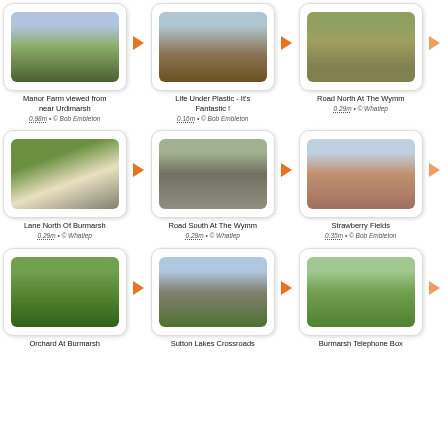[Figure (photo): Manor Farm field viewed from near Urdimarsh]
Manor Farm viewed from near Urdimarsh
0.98m • © Bob Embleton
[Figure (photo): Solar panels or plastic-covered field - Life Under Plastic]
Life Under Plastic - It's Fantastic !
0.16m • © Bob Embleton
[Figure (photo): Road North At The Wymm]
Road North At The Wymm
0.29m • © Whatlep
[Figure (photo): Lane North Of Burmarsh]
Lane North Of Burmarsh
0.29m • © Whatlep
[Figure (photo): Road South At The Wymm]
Road South At The Wymm
0.29m • © Whatlep
[Figure (photo): Strawberry Fields]
Strawberry Fields
0.35m • © Bob Embleton
[Figure (photo): Orchard At Burmarsh]
Orchard At Burmarsh
[Figure (photo): Sutton Lakes Crossroads]
Sutton Lakes Crossroads
[Figure (photo): Burmarsh Telephone Box]
Burmarsh Telephone Box